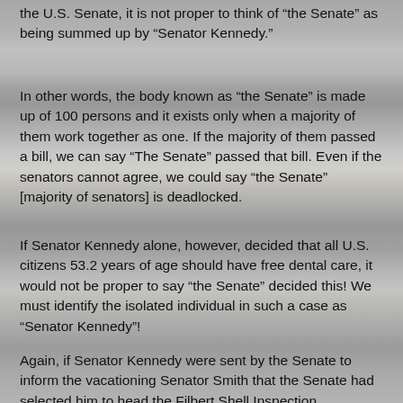the U.S. Senate, it is not proper to think of “the Senate” as being summed up by “Senator Kennedy.”
In other words, the body known as “the Senate” is made up of 100 persons and it exists only when a majority of them work together as one. If the majority of them passed a bill, we can say “The Senate” passed that bill. Even if the senators cannot agree, we could say “the Senate” [majority of senators] is deadlocked.
If Senator Kennedy alone, however, decided that all U.S. citizens 53.2 years of age should have free dental care, it would not be proper to say “the Senate” decided this! We must identify the isolated individual in such a case as “Senator Kennedy”!
Again, if Senator Kennedy were sent by the Senate to inform the vacationing Senator Smith that the Senate had selected him to head the Filbert Shell Inspection Committee, we might